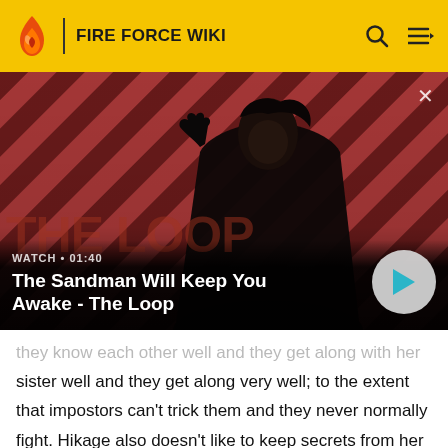FIRE FORCE WIKI
[Figure (screenshot): Video thumbnail for 'The Sandman Will Keep You Awake - The Loop' with a dark-cloaked figure and a crow on his shoulder against a red-and-black diagonal striped background. Shows WATCH • 01:40 label and a play button.]
WATCH • 01:40
The Sandman Will Keep You Awake - The Loop
sister well and they get along very well; to the extent that impostors can't trick them and they never normally fight. Hikage also doesn't like to keep secrets from her twin because she doesn't want to make Hinata angry. Hikage also shows an overwhelming love of desserts and sweet